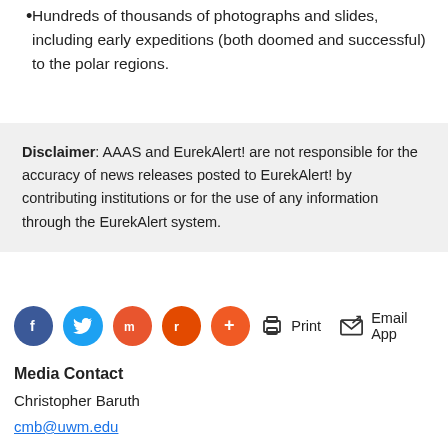Hundreds of thousands of photographs and slides, including early expeditions (both doomed and successful) to the polar regions.
Disclaimer: AAAS and EurekAlert! are not responsible for the accuracy of news releases posted to EurekAlert! by contributing institutions or for the use of any information through the EurekAlert system.
[Figure (other): Social media share buttons: Facebook, Twitter, Mix, Reddit, More; and action buttons: Print, Email App]
Media Contact
Christopher Baruth
cmb@uwm.edu